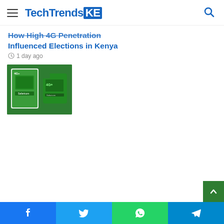TechTrendsKE
How High 4G Penetration Influenced Elections in Kenya
1 day ago
[Figure (photo): SIM card packaging in green Safaricom branding, showing 4G+ SIM card box and card]
Facebook  Twitter  WhatsApp  Telegram